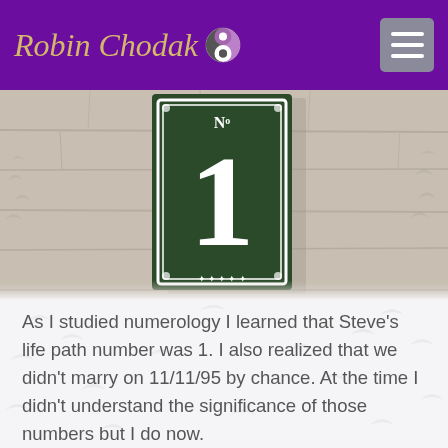Robin Chodak
[Figure (photo): Close-up photo of a green number sign reading 'No 1' with ornate white border, mounted on a textured stone/concrete wall]
As I studied numerology I learned that Steve's life path number was 1. I also realized that we didn't marry on 11/11/95 by chance. At the time I didn't understand the significance of those numbers but I do now.